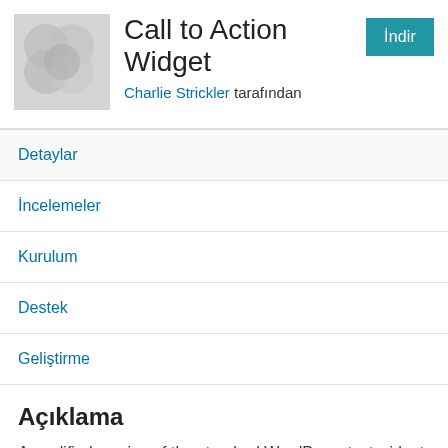[Figure (illustration): Plugin icon placeholder with grey overlapping circles pattern]
Call to Action Widget
Charlie Strickler tarafından
Detaylar
İncelemeler
Kurulum
Destek
Geliştirme
Açıklama
A modified version of the standard WordPress text widget. In addition to a title and textarea/html field